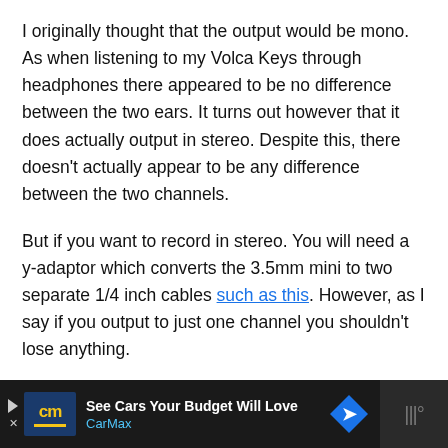I originally thought that the output would be mono. As when listening to my Volca Keys through headphones there appeared to be no difference between the two ears. It turns out however that it does actually output in stereo. Despite this, there doesn't actually appear to be any difference between the two channels.
But if you want to record in stereo. You will need a y-adaptor which converts the 3.5mm mini to two separate 1/4 inch cables such as this. However, as I say if you output to just one channel you shouldn't lose anything.
[Figure (other): Advertisement banner for CarMax: 'See Cars Your Budget Will Love' with CarMax logo and blue diamond navigation icon, dark background.]